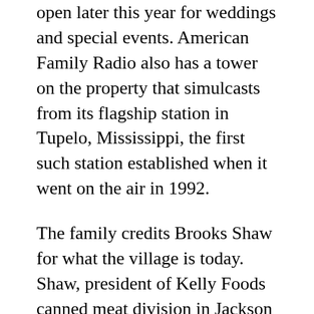open later this year for weddings and special events. American Family Radio also has a tower on the property that simulcasts from its flagship station in Tupelo, Mississippi, the first such station established when it went on the air in 1992.
The family credits Brooks Shaw for what the village is today. Shaw, president of Kelly Foods canned meat division in Jackson and an antiques collector, opened the Old Country Store in 1965. It outgrew its original location and in 1978 moved to the current site.
Clark Shaw and Deborah Laman grew up working in the business, and both pursued paths that eventually led them back to the village. “I knew by the time I was fifteen this was what I wanted to do with my life,” Shaw says. He attended Union University and Jackson State Community College before enrolling